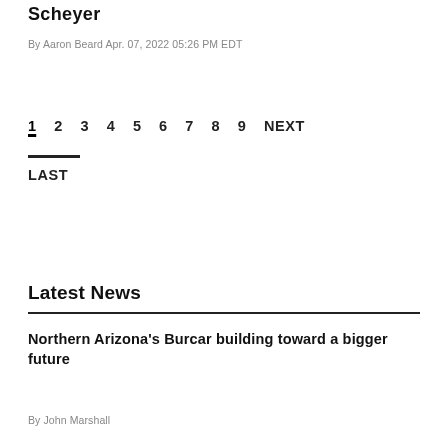Scheyer
By Aaron Beard Apr. 07, 2022 05:26 PM EDT
1 2 3 4 5 6 7 8 9 NEXT LAST
Latest News
Northern Arizona's Burcar building toward a bigger future
By John Marshall